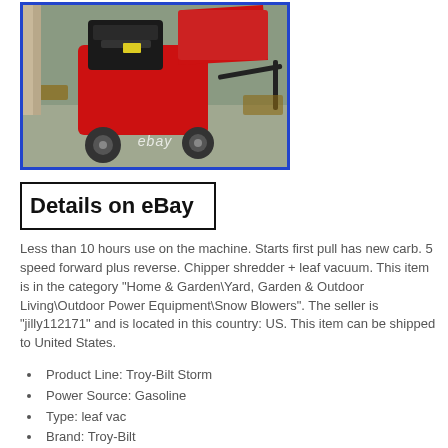[Figure (photo): Red Troy-Bilt chipper shredder / leaf vacuum machine photographed outdoors, shown from above at an angle. Blue border around image. eBay watermark visible.]
Details on eBay
Less than 10 hours use on the machine. Starts first pull has new carb. 5 speed forward plus reverse. Chipper shredder + leaf vacuum. This item is in the category “Home & Garden\Yard, Garden & Outdoor Living\Outdoor Power Equipment\Snow Blowers”. The seller is “jilly112171” and is located in this country: US. This item can be shipped to United States.
Product Line: Troy-Bilt Storm
Power Source: Gasoline
Type: leaf vac
Brand: Troy-Bilt